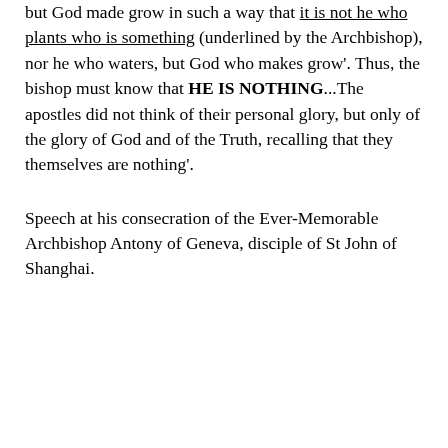but God made grow in such a way that it is not he who plants who is something (underlined by the Archbishop), nor he who waters, but God who makes grow'. Thus, the bishop must know that HE IS NOTHING...The apostles did not think of their personal glory, but only of the glory of God and of the Truth, recalling that they themselves are nothing'.
Speech at his consecration of the Ever-Memorable Archbishop Antony of Geneva, disciple of St John of Shanghai.